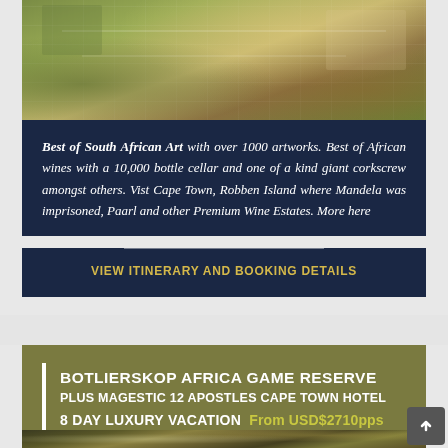[Figure (photo): Outdoor terrace or patio area with garden, furniture, and railing visible from above, in South African setting]
Best of South African Art with over 1000 artworks. Best of African wines with a 10,000 bottle cellar and one of a kind giant corkscrew amongst others. Vist Cape Town, Robben Island where Mandela was imprisoned, Paarl and other Premium Wine Estates. More here
VIEW ITINERARY AND BOOKING DETAILS
BOTLIERSKOP AFRICA GAME RESERVE PLUS MAGESTIC 12 APOSTLES CAPE TOWN HOTEL 8 DAY LUXURY VACATION From USD$2710pps
[Figure (photo): Safari game vehicle on dirt track through dense bush and vegetation in African game reserve]